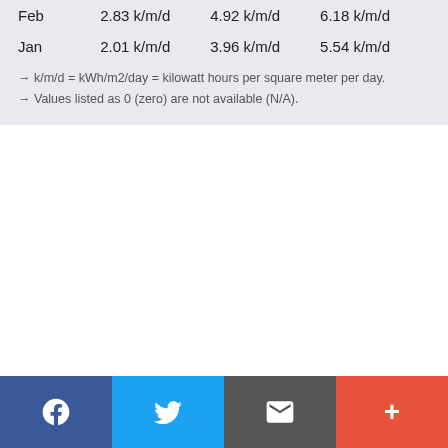| Feb | 2.83 k/m/d | 4.92 k/m/d | 6.18 k/m/d |
| Jan | 2.01 k/m/d | 3.96 k/m/d | 5.54 k/m/d |
→ k/m/d = kWh/m2/day = kilowatt hours per square meter per day.
→ Values listed as 0 (zero) are not available (N/A).
[Figure (other): Social media sharing footer bar with Facebook, Twitter, Email, and Plus (+) buttons]